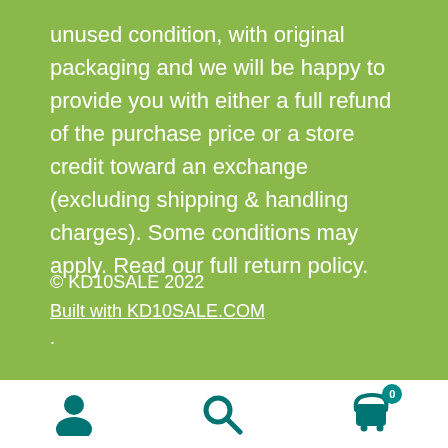unused condition, with original packaging and we will be happy to provide you with either a full refund of the purchase price or a store credit toward an exchange (excluding shipping & handling charges). Some conditions may apply. Read our full return policy.
© KD10SALE 2022
Built with KD10SALE.COM.